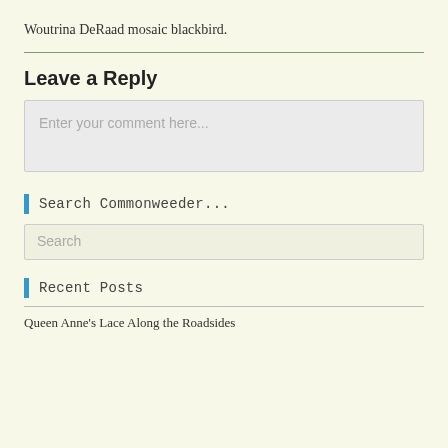Woutrina DeRaad mosaic blackbird.
Leave a Reply
Enter your comment here...
Search Commonweeder...
Search
Recent Posts
Queen Anne's Lace Along the Roadsides